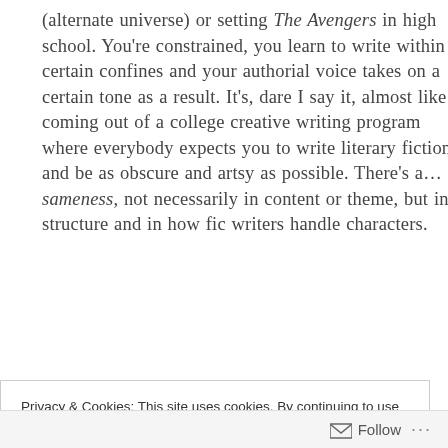(alternate universe) or setting The Avengers in high school. You're constrained, you learn to write within certain confines and your authorial voice takes on a certain tone as a result. It's, dare I say it, almost like coming out of a college creative writing program where everybody expects you to write literary fiction and be as obscure and artsy as possible. There's a… sameness, not necessarily in content or theme, but in structure and in how fic writers handle characters.
Privacy & Cookies: This site uses cookies. By continuing to use this website, you agree to their use. To find out more, including how to control cookies, see here: Cookie Policy
Close and accept
Follow